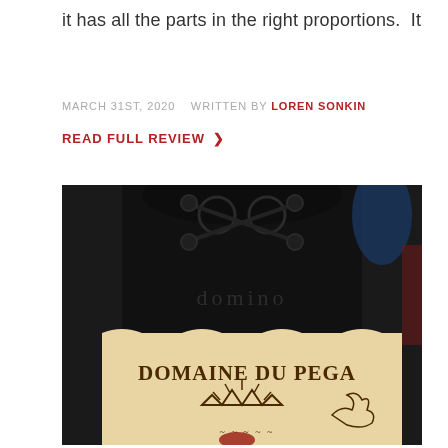it has all the parts in the right proportions.  It
MARCH 31ST, 2020  WRITTEN BY LOREN SONKIN
READ FULL REVIEW >
[Figure (photo): Close-up photo of a dark wine bottle with embossed glass and a label reading 'DOMAINE DU PEGA...' with decorative vintage typography and imagery]